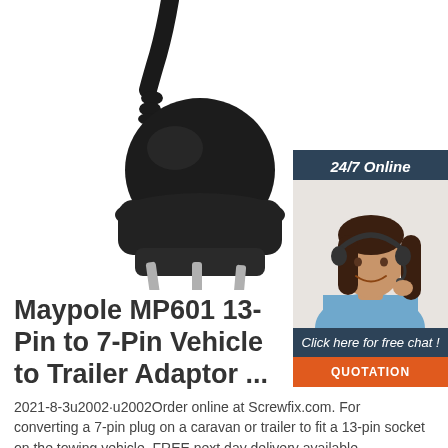[Figure (photo): Black electrical plug/connector with three metal pins and a cable, shown against white background - Maypole MP601 13-Pin to 7-Pin Vehicle to Trailer Adaptor product photo]
[Figure (photo): Chat widget showing '24/7 Online' banner, female customer service agent with headset smiling, 'Click here for free chat!' text, and orange QUOTATION button]
Maypole MP601 13-Pin to 7-Pin Vehicle to Trailer Adaptor ...
2021-8-3u2002·u2002Order online at Screwfix.com. For converting a 7-pin plug on a caravan or trailer to fit a 13-pin socket on the towing vehicle. FREE next day delivery available,